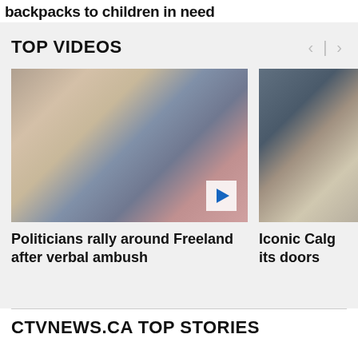backpacks to children in need
TOP VIDEOS
[Figure (photo): Video thumbnail showing a confrontation scene in an office hallway with several people facing each other]
Politicians rally around Freeland after verbal ambush
[Figure (photo): Partial video thumbnail showing a person in a blue shirt at a restaurant table]
Iconic Calg its doors
CTVNEWS.CA TOP STORIES